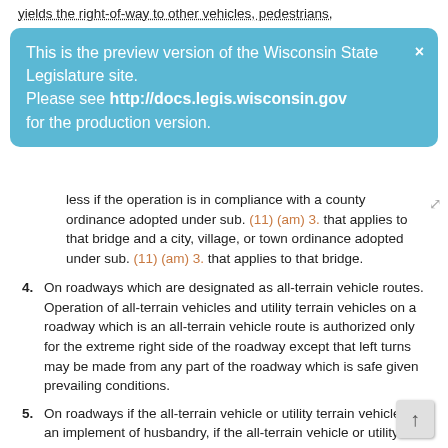yields the right-of-way to other vehicles, pedestrians,
This is the preview version of the Wisconsin State Legislature site. Please see http://docs.legis.wisconsin.gov for the production version.
less if the operation is in compliance with a county ordinance adopted under sub. (11) (am) 3. that applies to that bridge and a city, village, or town ordinance adopted under sub. (11) (am) 3. that applies to that bridge.
4. On roadways which are designated as all-terrain vehicle routes. Operation of all-terrain vehicles and utility terrain vehicles on a roadway which is an all-terrain vehicle route is authorized only for the extreme right side of the roadway except that left turns may be made from any part of the roadway which is safe given prevailing conditions.
5. On roadways if the all-terrain vehicle or utility terrain vehicle is an implement of husbandry, if the all-terrain vehicle or utility terrain vehicle is used exclusively for agricultural purposes and if the all-terrain vehicle or utility terrain vehicle is registered for private use under sub. (2) (d) or (2g). Operation of an all-terrain vehicle or utility terrain vehicle which is an implement of husbandry on a roadway is authorized only for the